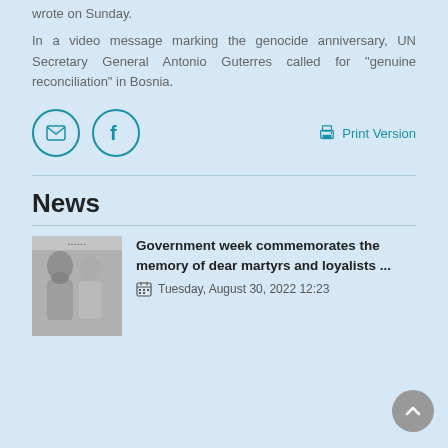wrote on Sunday.
In a video message marking the genocide anniversary, UN Secretary General Antonio Guterres called for "genuine reconciliation" in Bosnia.
[Figure (other): Social sharing icons: email (envelope) and Facebook (f) circle buttons, and a Print Version link with printer icon]
News
[Figure (photo): Black and white photograph of two men, appears to be historical image related to news article about martyrs]
Government week commemorates the memory of dear martyrs and loyalists ...
Tuesday, August 30, 2022 12:23